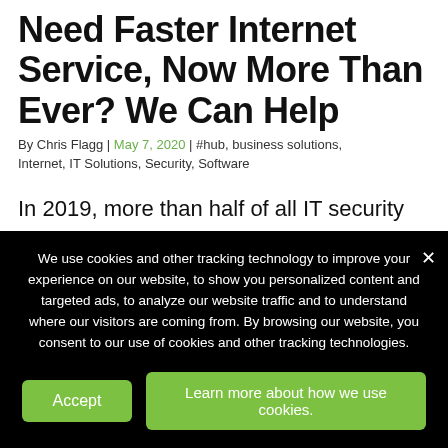Need Faster Internet Service, Now More Than Ever? We Can Help
By Chris Flagg | May 7, 2020 | #hub, business solutions, Internet, IT Solutions, Security, Software
In 2019, more than half of all IT security professionals reported that their stress levels were increasing. For many, this is the result of the constant barrage of email attacks that
We use cookies and other tracking technology to improve your experience on our website, to show you personalized content and targeted ads, to analyze our website traffic and to understand where our visitors are coming from. By browsing our website, you consent to our use of cookies and other tracking technologies.
Accept
Learn more about how we use cookies.